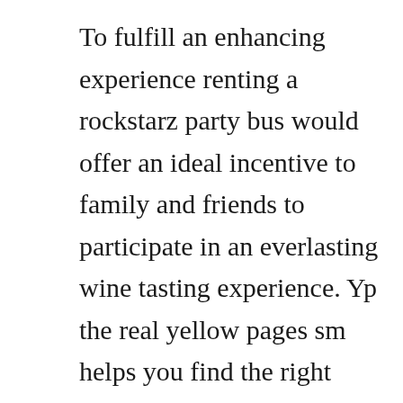To fulfill an enhancing experience renting a rockstarz party bus would offer an ideal incentive to family and friends to participate in an everlasting wine tasting experience. Yp the real yellow pages sm helps you find the right local businesses to meet your specific needs. Dagostini winery refers to both a winery in healdsburg, california sonoma county owned by armagan champagne cellars as well as the original vineyard and wine cellar located in plymouth. Highest rated places of interest or tour operators on tripadvisor representing the very best in...